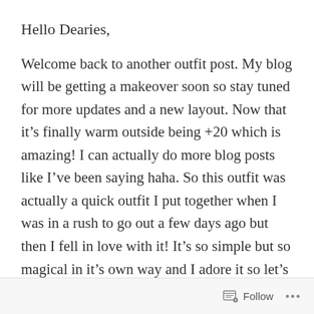Hello Dearies,
Welcome back to another outfit post. My blog will be getting a makeover soon so stay tuned for more updates and a new layout. Now that it’s finally warm outside being +20 which is amazing! I can actually do more blog posts like I’ve been saying haha. So this outfit was actually a quick outfit I put together when I was in a rush to go out a few days ago but then I fell in love with it! It’s so simple but so magical in it’s own way and I adore it so let’s take a look at it.
Follow ...